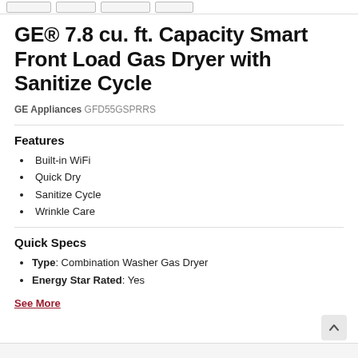[Navigation tab buttons]
GE® 7.8 cu. ft. Capacity Smart Front Load Gas Dryer with Sanitize Cycle
GE Appliances GFD55GSPRRS
Features
Built-in WiFi
Quick Dry
Sanitize Cycle
Wrinkle Care
Quick Specs
Type: Combination Washer Gas Dryer
Energy Star Rated: Yes
See More